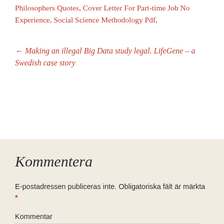Philosophers Quotes, Cover Letter For Part-time Job No Experience, Social Science Methodology Pdf,
← Making an illegal Big Data study legal. LifeGene – a Swedish case story
Kommentera
E-postadressen publiceras inte. Obligatoriska fält är märkta *
Kommentar